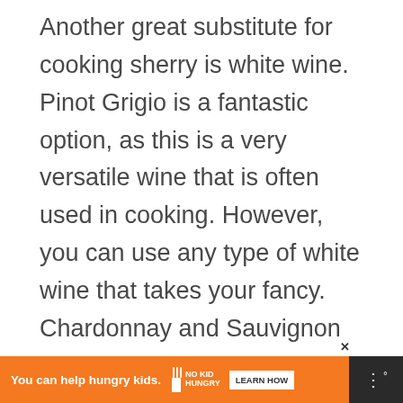Another great substitute for cooking sherry is white wine. Pinot Grigio is a fantastic option, as this is a very versatile wine that is often used in cooking. However, you can use any type of white wine that takes your fancy. Chardonnay and Sauvignon Blanc are also great options. It is best to use a dry white wine if you can.
White wine is a very versatile drink that can be used in a variety of savory dishes, including seafood and chicken recipes. So this w... great alternative to cooking sherry if you don't ha...
[Figure (other): Green circular like/heart button with a heart icon, showing count of 1, and a white circular share button below it]
[Figure (other): What's Next promo box: thumbnail of chicken dish with text 'How Long Is Chicken Go...']
[Figure (other): Ad banner: orange background with text 'You can help hungry kids.' and No Kid Hungry logo with LEARN HOW button. Close X button at top right. Dark panel with dots icon at far right.]